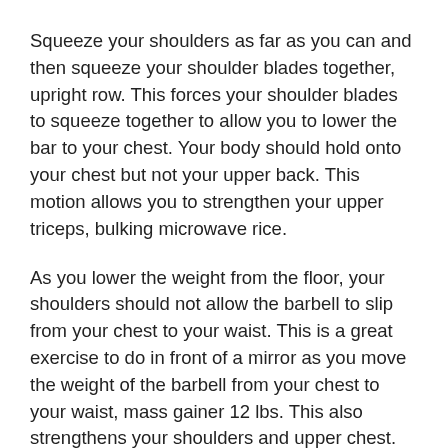Squeeze your shoulders as far as you can and then squeeze your shoulder blades together, upright row. This forces your shoulder blades to squeeze together to allow you to lower the bar to your chest. Your body should hold onto your chest but not your upper back. This motion allows you to strengthen your upper triceps, bulking microwave rice.
As you lower the weight from the floor, your shoulders should not allow the barbell to slip from your chest to your waist. This is a great exercise to do in front of a mirror as you move the weight of the barbell from your chest to your waist, mass gainer 12 lbs. This also strengthens your shoulders and upper chest.
Once you have reached your desired